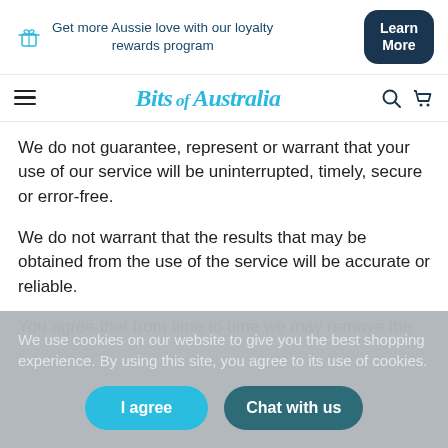Get more Aussie love with our loyalty rewards program | Learn More
[Figure (logo): Bits of Australia website logo with hamburger menu, search and cart icons]
We do not guarantee, represent or warrant that your use of our service will be uninterrupted, timely, secure or error-free.
We do not warrant that the results that may be obtained from the use of the service will be accurate or reliable.
You agree that from time to time we may remove the
We use cookies on our website to give you the best shopping experience. By using this site, you agree to its use of cookies.